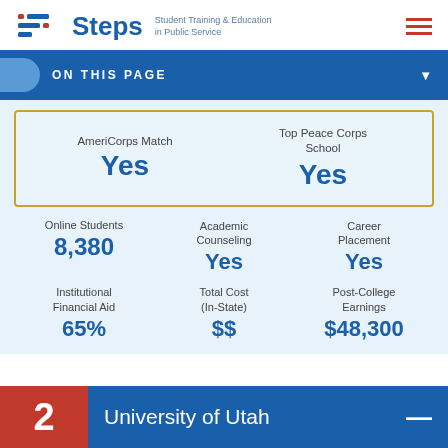Steps — Student Training & Education in Public Service
ON THIS PAGE
| AmeriCorps Match | Top Peace Corps School |
| --- | --- |
| Yes | Yes |
| Online Students | Academic Counseling | Career Placement |
| --- | --- | --- |
| 8,380 | Yes | Yes |
| Institutional Financial Aid | Total Cost (In-State) | Post-College Earnings |
| --- | --- | --- |
| 65% | $$ | $48,300 |
2  University of Utah